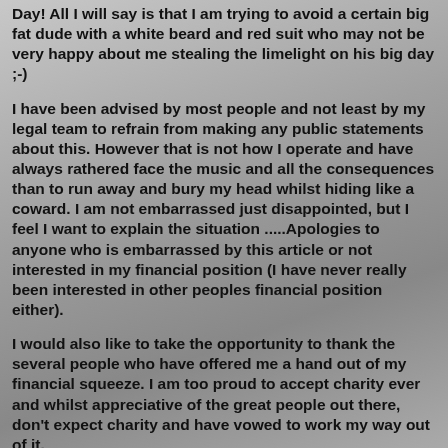Day! All I will say is that I am trying to avoid a certain big fat dude with a white beard and red suit who may not be very happy about me stealing the limelight on his big day ;-)
I have been advised by most people and not least by my legal team to refrain from making any public statements about this. However that is not how I operate and have always rathered face the music and all the consequences than to run away and bury my head whilst hiding like a coward. I am not embarrassed just disappointed, but I feel I want to explain the situation .....Apologies to anyone who is embarrassed by this article or not interested in my financial position (I have never really been interested in other peoples financial position either).
I would also like to take the opportunity to thank the several people who have offered me a hand out of my financial squeeze. I am too proud to accept charity ever and whilst appreciative of the great people out there, don't expect charity and have vowed to work my way out of it.
So how did this bankruptcy come about? Well I have to say that on retirement